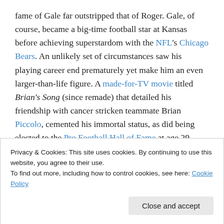fame of Gale far outstripped that of Roger. Gale, of course, became a big-time football star at Kansas before achieving superstardom with the NFL's Chicago Bears. An unlikely set of circumstances saw his playing career end prematurely yet make him an even larger-than-life figure. A made-for-TV movie titled Brian's Song (since remade) that detailed his friendship with cancer stricken teammate Brian Piccolo, cemented his immortal status, as did being elected to the Pro Football Hall of Fame at age 29. Roger's feats in both football and track were impressive but little seen owing to the fact he competed for a small
Privacy & Cookies: This site uses cookies. By continuing to use this website, you agree to their use.
To find out more, including how to control cookies, see here: Cookie Policy